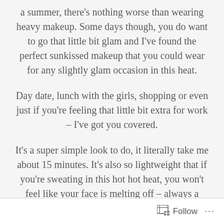a summer, there's nothing worse than wearing heavy makeup. Some days though, you do want to go that little bit glam and I've found the perfect sunkissed makeup that you could wear for any slightly glam occasion in this heat.
Day date, lunch with the girls, shopping or even just if you're feeling that little bit extra for work – I've got you covered.
It's a super simple look to do, it literally take me about 15 minutes. It's also so lightweight that if you're sweating in this hot hot heat, you won't feel like your face is melting off – always a bonus.
Follow ...